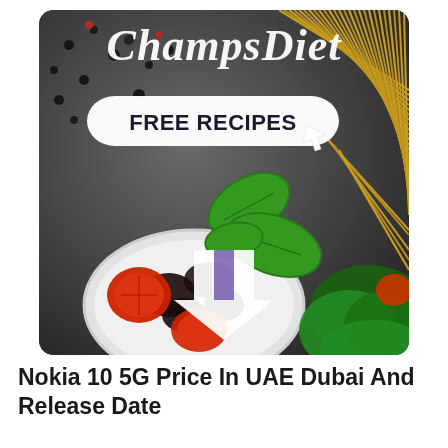[Figure (photo): Promotional image for ChampsDiet showing a dark background with food items: a bowl of tomatoes and olives, fresh basil leaves, spaghetti pasta, black pepper, with 'FREE RECIPES' badge and arrows overlaid. The brand name 'ChampsDiet' appears in italic script at the top.]
Nokia 10 5G Price In UAE Dubai And Release Date